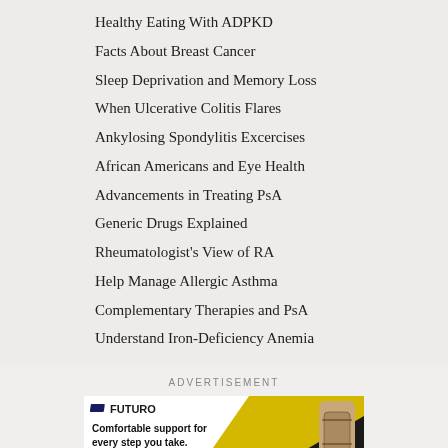Healthy Eating With ADPKD
Facts About Breast Cancer
Sleep Deprivation and Memory Loss
When Ulcerative Colitis Flares
Ankylosing Spondylitis Excercises
African Americans and Eye Health
Advancements in Treating PsA
Generic Drugs Explained
Rheumatologist's View of RA
Help Manage Allergic Asthma
Complementary Therapies and PsA
Understand Iron-Deficiency Anemia
ADVERTISEMENT
[Figure (photo): FUTURO brand advertisement banner with text 'Comfortable support for every step you take.' showing a knee brace on a leg with yellow and black diagonal stripe design]